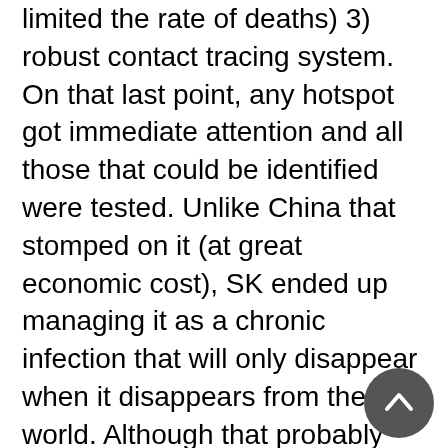limited the rate of deaths) 3) robust contact tracing system. On that last point, any hotspot got immediate attention and all those that could be identified were tested. Unlike China that stomped on it (at great economic cost), SK ended up managing it as a chronic infection that will only disappear when it disappears from the world. Although that probably wasn't their original expectation. As of yesterday: total cases 191,531 and deaths 2,079. Both more than respectable outcomes.
Compare that to Vietnam -- a much poorer country with a population of 98 million. Public messaging (the government is more trusted there than in most places), low tech pandemic measures, and limited clinic/hospital